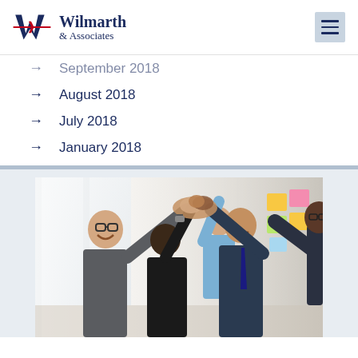Wilmarth & Associates
September 2018
August 2018
July 2018
January 2018
[Figure (photo): Group of diverse business professionals high-fiving together in an office setting, smiling and celebrating]